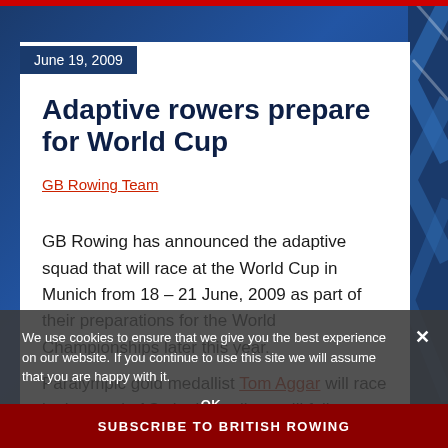June 19, 2009
Adaptive rowers prepare for World Cup
GB Rowing Team
GB Rowing has announced the adaptive squad that will race at the World Cup in Munich from 18 – 21 June, 2009 as part of their preparations for the World Championships later this year.
Paralympic gold medallist Tom Aggar will race in the men's AS single scull, as will fellow British rower Andy Houghton. They will face competition
We use cookies to ensure that we give you the best experience on our website. If you continue to use this site we will assume that you are happy with it.
SUBSCRIBE TO BRITISH ROWING